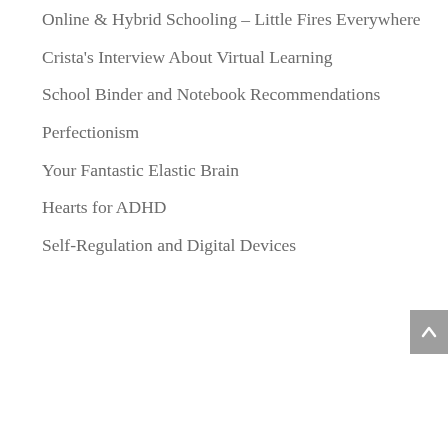Online & Hybrid Schooling – Little Fires Everywhere
Crista's Interview About Virtual Learning
School Binder and Notebook Recommendations
Perfectionism
Your Fantastic Elastic Brain
Hearts for ADHD
Self-Regulation and Digital Devices